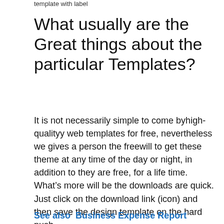template with label
What usually are the Great things about the particular Templates?
It is not necessarily simple to come byhigh-qualityy web templates for free, nevertheless we gives a person the freewill to get these theme at any time of the day or night, in addition to they are free, for a life time. What’s more will be the downloads are quick. Just click on the download link (icon) and then save the design template on the hard push.
See also  Business Expense Report